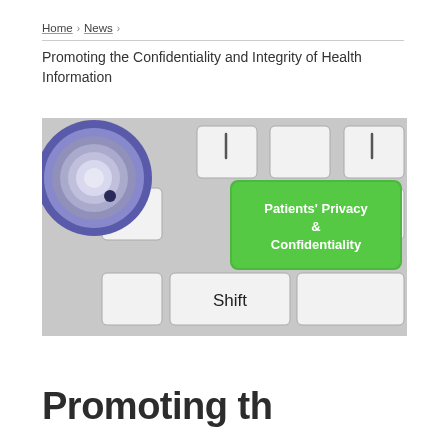Home › News ›
Promoting the Confidentiality and Integrity of Health Information
[Figure (photo): Keyboard with a green key labeled 'Patients' Privacy & Confidentiality' and a stethoscope in the upper left corner. A Shift key is visible at the bottom.]
Promoting th...